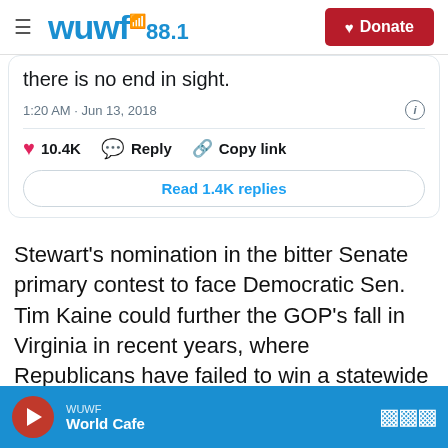WUWF 88.1 — Donate
[Figure (screenshot): Partial tweet screenshot showing text 'there is no end in sight.' with timestamp 1:20 AM · Jun 13, 2018, 10.4K likes, Reply, Copy link, and Read 1.4K replies button]
Stewart's nomination in the bitter Senate primary contest to face Democratic Sen. Tim Kaine could further the GOP's fall in Virginia in recent years, where Republicans have failed to win a statewide contest since 2009. The commonwealth has gotten bluer, but the GOP has only moved further to the
WUWF — World Cafe